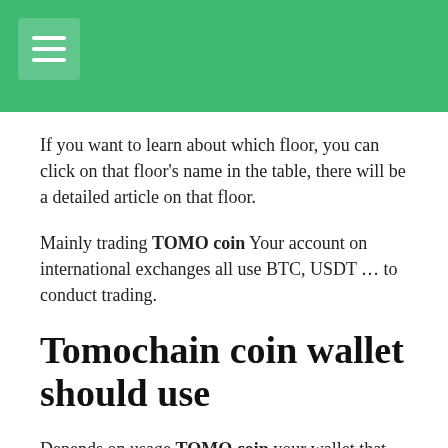If you want to learn about which floor, you can click on that floor's name in the table, there will be a detailed article on that floor.
Mainly trading TOMO coin Your account on international exchanges all use BTC, USDT … to conduct trading.
Tomochain coin wallet should use
Depends on usage TOMO coin your wallet that you will choose for yourself the appropriate wallet.
Suitable for those who want to store TOMO coin long term and few transactions.